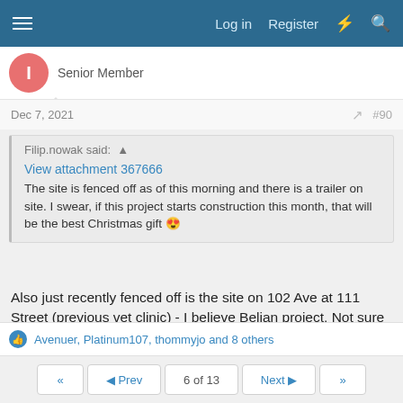Log in  Register
Senior Member
Dec 7, 2021  #90
Filip.nowak said:
View attachment 367666
The site is fenced off as of this morning and there is a trailer on site. I swear, if this project starts construction this month, that will be the best Christmas gift 😍
Also just recently fenced off is the site on 102 Ave at 111 Street (previous vet clinic) - I believe Beljan project. Not sure if thread for this.
Last edited: Dec 7, 2021
Avenuer, Platinum107, thommyjo and 8 others